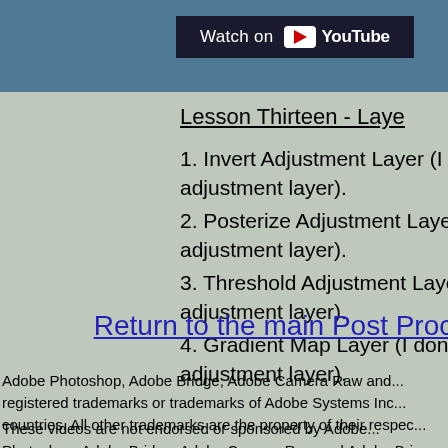[Figure (screenshot): YouTube 'Watch on YouTube' button on a dark blue-grey background]
Lesson Thirteen - Laye...
1. Invert Adjustment Layer (I d... adjustment layer).
2. Posterize Adjustment Layer... adjustment layer).
3. Threshold Adjustment Laye... adjustment layer).
4. Gradient Map Layer (I don't... adjustment layer).
Return to the main Post Processing...
Adobe Photoshop, Adobe Bridge, Adobe Camera Raw and... registered trademarks or trademarks of Adobe Systems Inc... countries. All other trademarks are the property of their respec...
These videos are not endorsed or sponsored by Adobe... Photoshop, Adobe Bridge, Adobe Camera Raw and Adobe Bri...